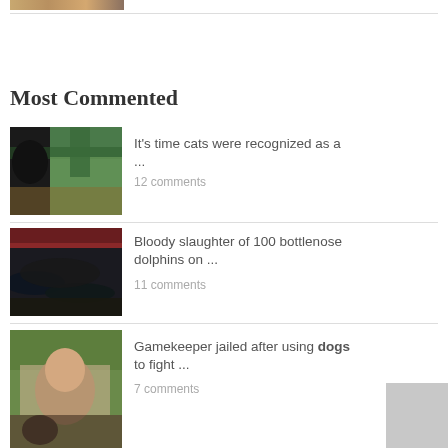[Figure (photo): Partial image visible at top of page, cropped brown/tan colored photo]
Most Commented
[Figure (photo): Black cat looking out from a building with trees and structures in background]
It's time cats were recognized as a ...
12 comments
[Figure (photo): Bloody slaughter scene with many dolphins on a dark surface]
Bloody slaughter of 100 bottlenose dolphins on ...
11 comments
[Figure (photo): Gamekeeper with dogs and what appears to be animals in a wooded setting]
Gamekeeper jailed after using dogs to fight ...
7 comments